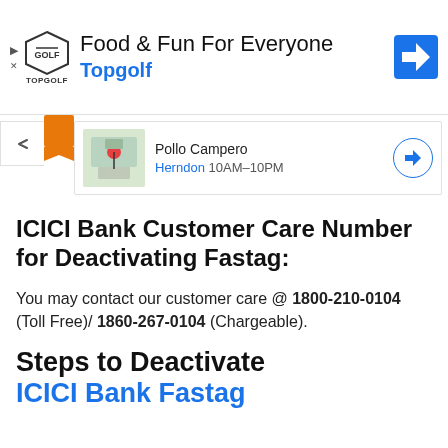[Figure (screenshot): Topgolf advertisement banner with logo and 'Food & Fun For Everyone' text]
[Figure (screenshot): Google Maps card showing Pollo Campero in Herndon, open 10AM-10PM]
ICICI Bank Customer Care Number for Deactivating Fastag:
You may contact our customer care @ 1800-210-0104 (Toll Free)/ 1860-267-0104 (Chargeable).
Steps to Deactivate ICICI Bank Fastag